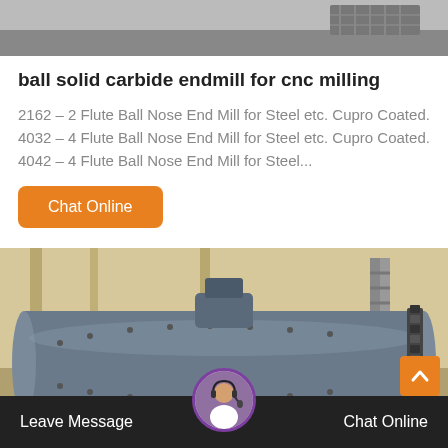[Figure (photo): Top portion of a photo showing industrial/workshop floor surface with metal grating]
ball solid carbide endmill for cnc milling
2162 – 2 Flute Ball Nose End Mill for Steel etc. Cupro Coated. 4032 – 4 Flute Ball Nose End Mill for Steel etc. Cupro Coated. 4042 – 4 Flute Ball Nose End Mill for Steel...
[Figure (other): Orange rounded rectangle button labeled 'Chat Online']
[Figure (photo): Industrial ball mill / large cylindrical steel grinding mill inside a warehouse/factory, with a gear ring visible on the right side]
Leave Message   Chat Online